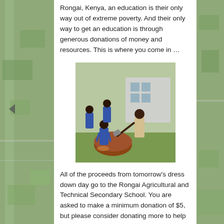Rongai, Kenya, an education is their only way out of extreme poverty. And their only way to get an education is through generous donations of money and resources. This is where you come in …
[Figure (photo): Students in blue school uniforms and one person in casual clothes chopping a log with an axe near a school building.]
All of the proceeds from tomorrow's dress down day go to the Rongai Agricultural and Technical Secondary School. You are asked to make a minimum donation of $5, but please consider donating more to help our fellow Lasallians in Rongai, Kenya to thrive and not just survive. My challenge to you today and tomorrow is two-fold: Number one: donate what you can financially in homeroom tomorrow and Number two: really